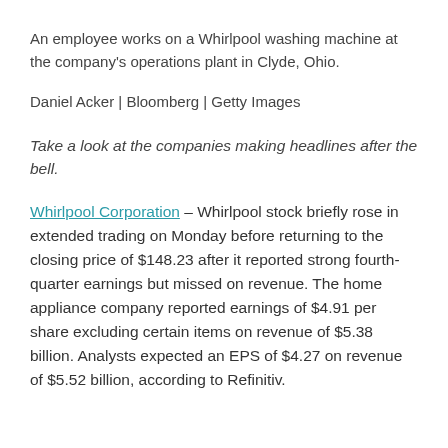An employee works on a Whirlpool washing machine at the company’s operations plant in Clyde, Ohio.
Daniel Acker | Bloomberg | Getty Images
Take a look at the companies making headlines after the bell.
Whirlpool Corporation – Whirlpool stock briefly rose in extended trading on Monday before returning to the closing price of $148.23 after it reported strong fourth-quarter earnings but missed on revenue. The home appliance company reported earnings of $4.91 per share excluding certain items on revenue of $5.38 billion. Analysts expected an EPS of $4.27 on revenue of $5.52 billion, according to Refinitiv.